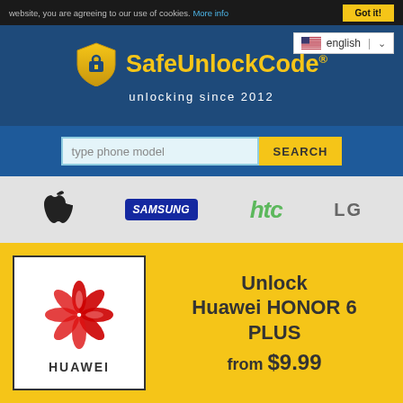website, you are agreeing to our use of cookies. More info
[Figure (logo): SafeUnlockCode logo with shield icon and text 'SafeUnlockCode® unlocking since 2012' on dark blue background]
english
type phone model  SEARCH
[Figure (logo): Apple, Samsung, htc, LG brand logos on grey background]
[Figure (logo): Huawei logo with red flower icon and HUAWEI text on yellow background]
Unlock Huawei HONOR 6 PLUS from $9.99